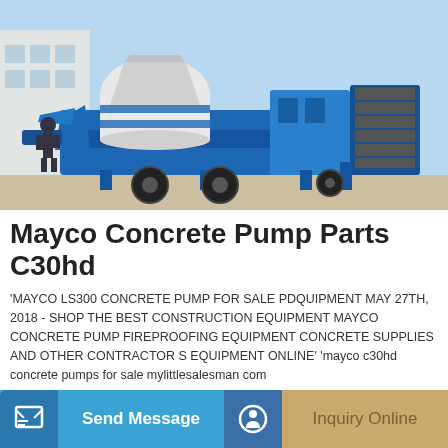[Figure (photo): Blue and white Mayco concrete pump machine on outdoor pavement, industrial equipment with hopper and pump body on wheeled chassis.]
Mayco Concrete Pump Parts C30hd
'MAYCO LS300 CONCRETE PUMP FOR SALE PDQUIPMENT MAY 27TH, 2018 - SHOP THE BEST CONSTRUCTION EQUIPMENT MAYCO CONCRETE PUMP FIREPROOFING EQUIPMENT CONCRETE SUPPLIES AND OTHER CONTRACTOR S EQUIPMENT ONLINE' 'mayco c30hd concrete pumps for sale mylittlesalesman com
Learn More
Send Message
Inquiry Online